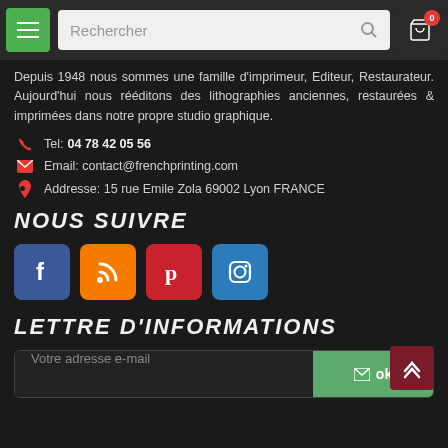Rechercher [search bar] [cart icon 0]
Depuis 1948 nous sommes une famille d'imprimeur, Editeur, Restaurateur. Aujourd'hui nous rééditons des lithographies anciennes, restaurées & imprimées dans notre propre studio graphique.
Tel: 04 78 42 05 56
Email: contact@frenchprinting.com
Addresse: 15 rue Emile Zola 69002 Lyon FRANCE
NOUS SUIVRE
[Figure (logo): Four social media icons: Facebook (blue), RSS (orange), Pinterest (red), Instagram (blue)]
LETTRE D'INFORMATIONS
Votre adresse e-mail [ok button]